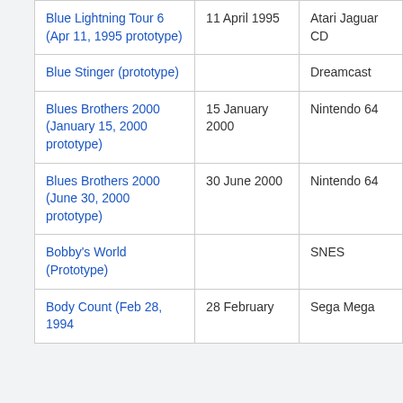| Game | Date | Platform |
| --- | --- | --- |
| Blue Lightning Tour 6 (Apr 11, 1995 prototype) | 11 April 1995 | Atari Jaguar CD |
| Blue Stinger (prototype) |  | Dreamcast |
| Blues Brothers 2000 (January 15, 2000 prototype) | 15 January 2000 | Nintendo 64 |
| Blues Brothers 2000 (June 30, 2000 prototype) | 30 June 2000 | Nintendo 64 |
| Bobby's World (Prototype) |  | SNES |
| Body Count (Feb 28, 1994 prototype) | 28 February | Sega Mega |